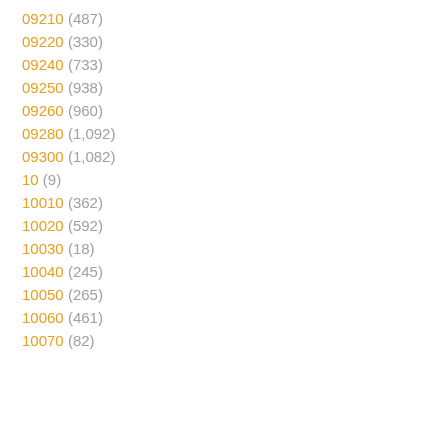09210 (487)
09220 (330)
09240 (733)
09250 (938)
09260 (960)
09280 (1,092)
09300 (1,082)
10 (9)
10010 (362)
10020 (592)
10030 (18)
10040 (245)
10050 (265)
10060 (461)
10070 (82)